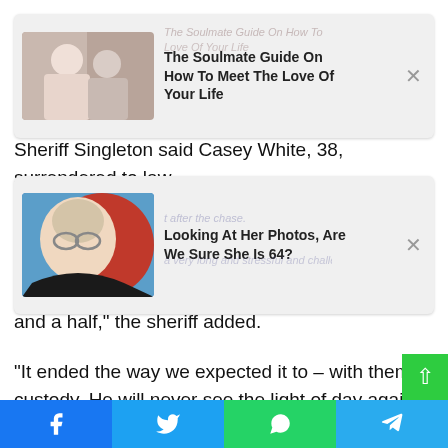[Figure (other): Advertisement card: couple photo with text 'The Soulmate Guide On How To Meet The Love Of Your Life' and close button]
Sheriff Singleton said Casey White, 38, surrendered to law
[Figure (other): Advertisement card: woman with glasses photo with text 'Looking At Her Photos, Are We Sure She Is 64?' and close button]
and a half,” the sheriff added.
“It ended the way we expected it to – with them in custody. He will never see the light of day again and that's a good thing, not only for our community but also for this country.”
Their capture came after investigators received a tip on the couple’s whereabouts late Sunday night and tracked them t
[Figure (infographic): Social media share bar with Facebook, Twitter, WhatsApp, Telegram buttons]